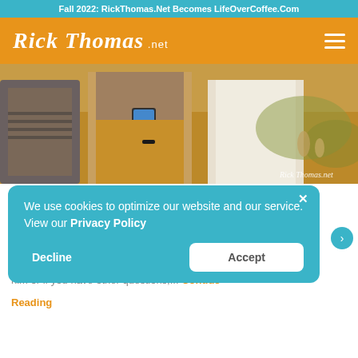Fall 2022: RickThomas.Net Becomes LifeOverCoffee.Com
[Figure (logo): Rick Thomas .net logo in white script on orange background header with hamburger menu icon]
[Figure (photo): Three young people standing together outdoors, middle person looking at a smartphone, warm golden hour lighting in a park setting]
Shows Main Idea – Rick responds to questions that some people sent him. They are on abuse, parenting, divorce, bad churches, bad work choices, forgiveness, and personal conviction. If you would like to discuss any of these with him or if you have other questions,... Continue Reading
We use cookies to optimize our website and our service. View our Privacy Policy
Decline
Accept